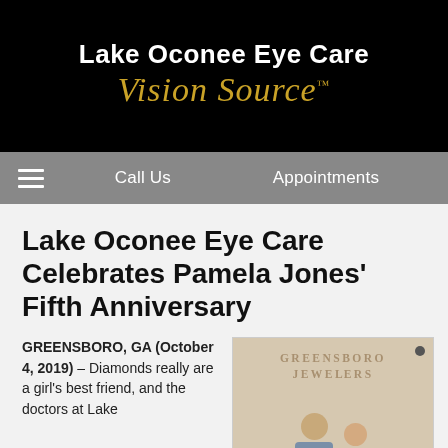Lake Oconee Eye Care Vision Source™
Call Us   Appointments
Lake Oconee Eye Care Celebrates Pamela Jones' Fifth Anniversary
GREENSBORO, GA (October 4, 2019) – Diamonds really are a girl's best friend, and the doctors at Lake
[Figure (photo): Two people standing inside Greensboro Jewelers store, with signage visible on the wall behind them.]